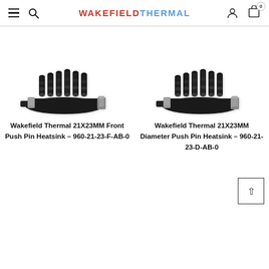WAKEFIELD THERMAL
[Figure (photo): Black pin fin heatsink with spring push-pin mounting hardware, 21x23mm, front push pin variant]
[Figure (photo): Black pin fin heatsink with spring push-pin mounting hardware, 21x23mm, diameter push pin variant]
Wakefield Thermal 21X23MM Front Push Pin Heatsink - 960-21-23-F-AB-0
Wakefield Thermal 21X23MM Diameter Push Pin Heatsink - 960-21-23-D-AB-0